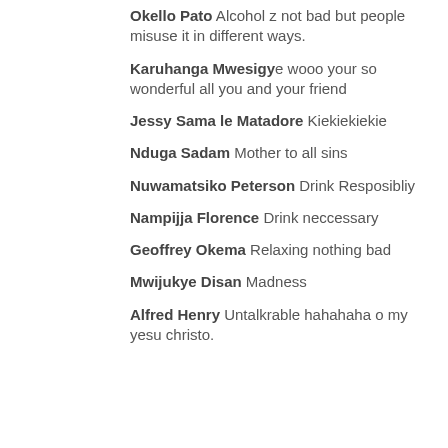Okello Pato Alcohol z not bad but people misuse it in different ways.
Karuhanga Mwesigye wooo your so wonderful all you and your friend
Jessy Sama le Matadore Kiekiekiekie
Nduga Sadam Mother to all sins
Nuwamatsiko Peterson Drink Resposibliy
Nampijja Florence Drink neccessary
Geoffrey Okema Relaxing nothing bad
Mwijukye Disan Madness
Alfred Henry Untalkrable hahahaha o my yesu christo.